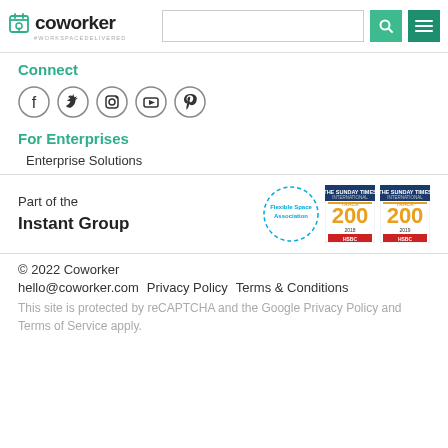coworker #WORKSPACEDELIVERED
Connect
[Figure (illustration): Five social media icons in circles: Facebook, Twitter, Instagram, YouTube, Pinterest]
For Enterprises
Enterprise Solutions
Part of the Instant Group
[Figure (logo): Flexible Space Association circular dashed-border logo, and two International Track 200 HSBC badges]
© 2022 Coworker
hello@coworker.com   Privacy Policy   Terms & Conditions
This site is protected by reCAPTCHA and the Google Privacy Policy and Terms of Service apply.